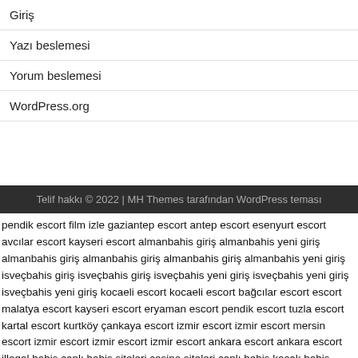Giriş
Yazı beslemesi
Yorum beslemesi
WordPress.org
Telif hakkı © 2022 | MH Themes tarafından WordPress teması
pendik escort film izle gaziantep escort antep escort esenyurt escort avcılar escort kayseri escort almanbahis giriş almanbahis yeni giriş almanbahis giriş almanbahis giriş almanbahis giriş almanbahis yeni giriş isveçbahis giriş isveçbahis giriş isveçbahis yeni giriş isveçbahis yeni giriş isveçbahis yeni giriş kocaeli escort kocaeli escort bağcılar escort escort malatya escort kayseri escort eryaman escort pendik escort tuzla escort kartal escort kurtköy çankaya escort izmir escort izmir escort mersin escort izmir escort izmir escort izmir escort ankara escort ankara escort illegal bahis canlı bahis siteleri casino siteleri canlı bahis kaçak bahis bahis siteleri